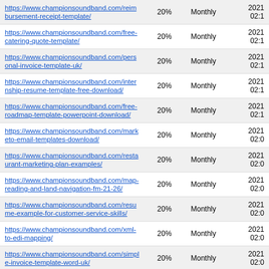| URL | % | Frequency | Date |
| --- | --- | --- | --- |
| https://www.championsoundband.com/reimbursement-receipt-template/ | 20% | Monthly | 2021 02:1 |
| https://www.championsoundband.com/free-catering-quote-template/ | 20% | Monthly | 2021 02:1 |
| https://www.championsoundband.com/personal-invoice-template-uk/ | 20% | Monthly | 2021 02:1 |
| https://www.championsoundband.com/internship-resume-template-free-download/ | 20% | Monthly | 2021 02:1 |
| https://www.championsoundband.com/free-roadmap-template-powerpoint-download/ | 20% | Monthly | 2021 02:1 |
| https://www.championsoundband.com/marketo-email-templates-download/ | 20% | Monthly | 2021 02:0 |
| https://www.championsoundband.com/restaurant-marketing-plan-examples/ | 20% | Monthly | 2021 02:0 |
| https://www.championsoundband.com/map-reading-and-land-navigation-fm-21-26/ | 20% | Monthly | 2021 02:0 |
| https://www.championsoundband.com/resume-example-for-customer-service-skills/ | 20% | Monthly | 2021 02:0 |
| https://www.championsoundband.com/xml-to-edi-mapping/ | 20% | Monthly | 2021 02:0 |
| https://www.championsoundband.com/simple-invoice-template-word-uk/ | 20% | Monthly | 2021 02:0 |
| https://www.championsoundband.com/online-flyer-templates-word/ | 20% | Monthly | 2021 02:0 |
| https://www.championsoundband.com/free-resume-... | 20% | Monthly | 2021 |